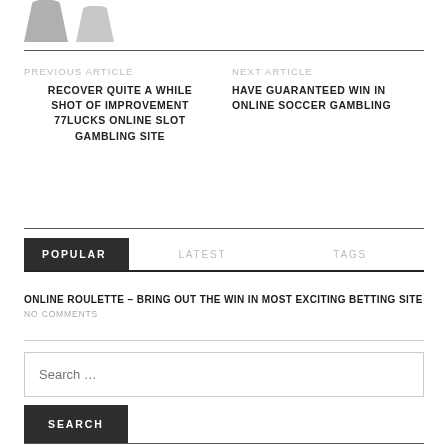[Figure (illustration): Two avatar/person silhouette icons in gray at the top left]
PREVIOUS ARTICLE
NEXT ARTICLE
RECOVER QUITE A WHILE SHOT OF IMPROVEMENT 77LUCKS ONLINE SLOT GAMBLING SITE
HAVE GUARANTEED WIN IN ONLINE SOCCER GAMBLING
POPULAR
LATEST
TAGS
ONLINE ROULETTE – BRING OUT THE WIN IN MOST EXCITING BETTING SITE
NO COMMENTS
Search …
SEARCH